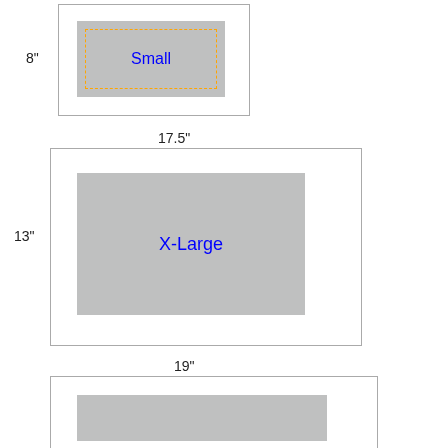[Figure (schematic): Small size diagram: outer white rectangle with border, inner gray rectangle with dashed orange inner border and 'Small' text in blue. Label '8"' on the left side.]
[Figure (schematic): X-Large size diagram: outer white rectangle with border, inner gray rectangle with 'X-Large' text in blue. Width label '17.5"' on top, height label '13"' on left.]
[Figure (schematic): Bottom diagram (partially visible): outer white rectangle with border, inner gray rectangle. Width label '19"' on top.]